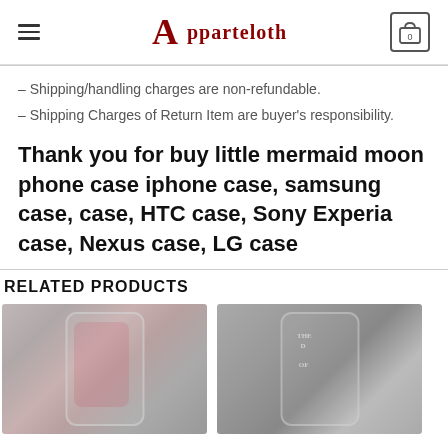Apparteloth
– Shipping/handling charges are non-refundable.
– Shipping Charges of Return Item are buyer's responsibility.
Thank you for buy little mermaid moon phone case iphone case, samsung case, case, HTC case, Sony Experia case, Nexus case, LG case
RELATED PRODUCTS
[Figure (photo): Phone case product image showing a clear phone case with colorful mermaid design on a blurred background]
[Figure (photo): Phone case product image showing a dark phone case with text design on a blurred background]